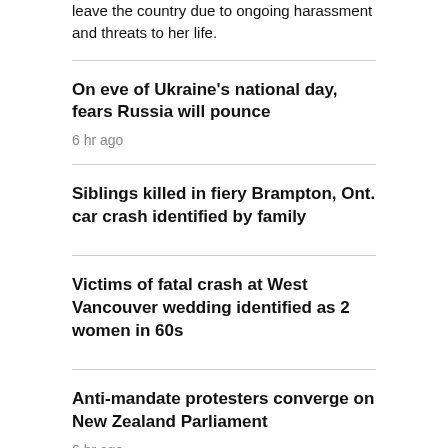leave the country due to ongoing harassment and threats to her life.
On eve of Ukraine's national day, fears Russia will pounce
6 hr ago
Siblings killed in fiery Brampton, Ont. car crash identified by family
Victims of fatal crash at West Vancouver wedding identified as 2 women in 60s
Anti-mandate protesters converge on New Zealand Parliament
6 hr ago
Feds won't extend bilingualism bonus to